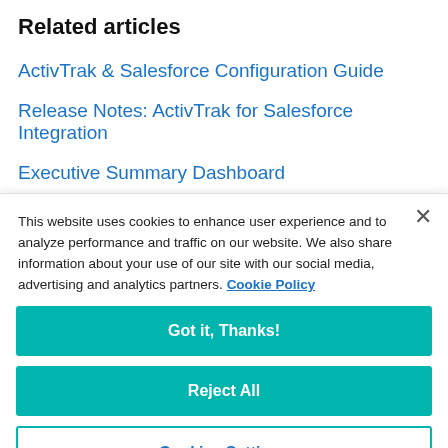Related articles
ActivTrak & Salesforce Configuration Guide
Release Notes: ActivTrak for Salesforce Integration
Executive Summary Dashboard
Deploying Agent Guide
ActivTrak's Salesforce Integration: Data Glossary
This website uses cookies to enhance user experience and to analyze performance and traffic on our website. We also share information about your use of our site with our social media, advertising and analytics partners. Cookie Policy
Got it, Thanks!
Reject All
Cookies Settings